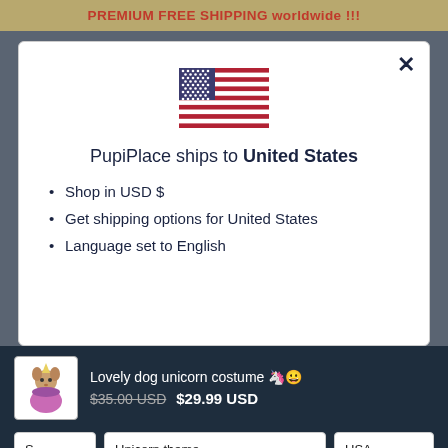PREMIUM FREE SHIPPING worldwide !!!
[Figure (illustration): US flag emoji / icon displayed in the modal dialog center]
PupiPlace ships to United States
Shop in USD $
Get shipping options for United States
Language set to English
Lovely dog unicorn costume 🦄😊
$35.00 USD   $29.99 USD
S ∨   Unicorn theme ∨   USA ∨
- 1 +   Add To Cart